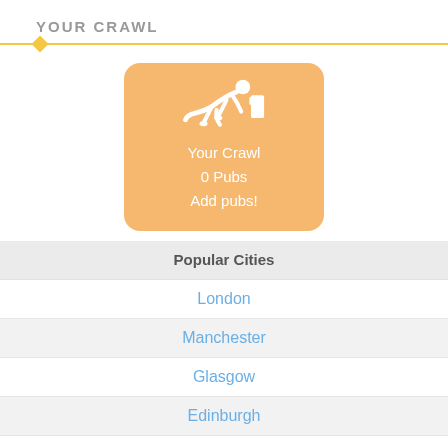YOUR CRAWL
[Figure (illustration): Orange rounded card with white crawling person icon and beer glass icon. Text: Your Crawl, 0 Pubs, Add pubs!]
Popular Cities
London
Manchester
Glasgow
Edinburgh
Birmingham
Leeds
Brighton
Liverpool